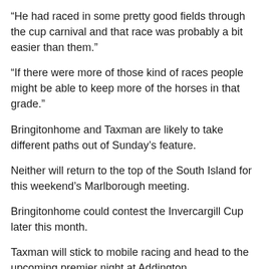“He had raced in some pretty good fields through the cup carnival and that race was probably a bit easier than them.”
“If there were more of those kind of races people might be able to keep more of the horses in that grade.”
Bringitonhome and Taxman are likely to take different paths out of Sunday’s feature.
Neither will return to the top of the South Island for this weekend’s Marlborough meeting.
Bringitonhome could contest the Invercargill Cup later this month.
Taxman will stick to mobile racing and head to the upcoming premier night at Addington.
“I will discuss it with the owners, but Bringitonhome could go to the Invercargill Cup.”
“It might just depend on what handicap he will be off.”